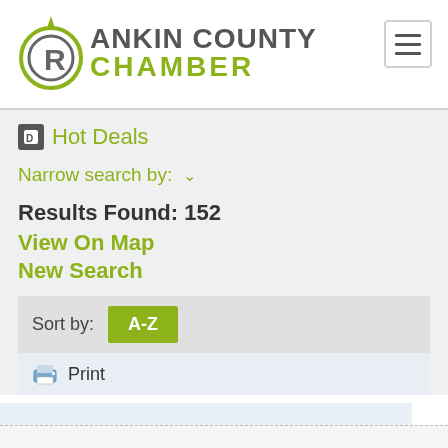[Figure (logo): Rankin County Chamber logo with circular R icon and green CHAMBER text]
Hot Deals
Narrow search by: ▾
Results Found: 152
View On Map
New Search
Sort by:  A-Z
Print